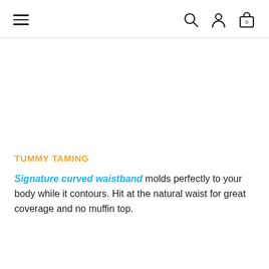≡  [search icon] [user icon] [cart icon 0]
TUMMY TAMING
Signature curved waistband molds perfectly to your body while it contours. Hit at the natural waist for great coverage and no muffin top.